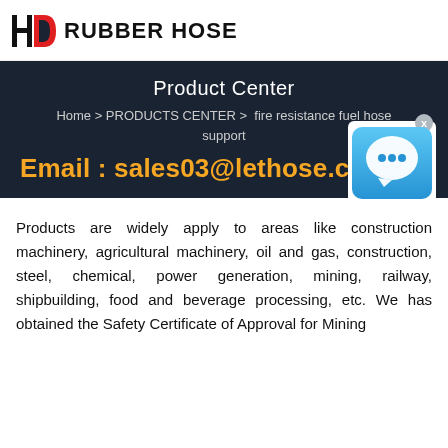HD RUBBER HOSE
Product Center
Home > PRODUCTS CENTER >  fire resistance fuel hose support
Email : sales03@lethose.c
Products are widely apply to areas like construction machinery, agricultural machinery, oil and gas, construction, steel, chemical, power generation, mining, railway, shipbuilding, food and beverage processing, etc. We has obtained the Safety Certificate of Approval for Mining